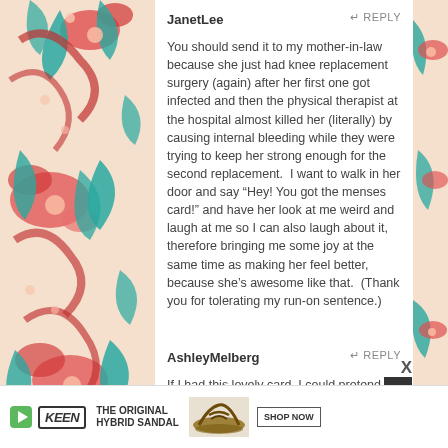JanetLee
You should send it to my mother-in-law because she just had knee replacement surgery (again) after her first one got infected and then the physical therapist at the hospital almost killed her (literally) by causing internal bleeding while they were trying to keep her strong enough for the second replacement.  I want to walk in her door and say “Hey! You got the menses card!” and have her look at me weird and laugh at me so I can also laugh about it, therefore bringing me some joy at the same time as making her feel better, because she’s awesome like that.  (Thank you for tolerating my run-on sentence.)
AshleyMelberg
If I had this lovely card, I could pretend that it’s a get-well-celery-rose-card from my new friend, the Pintester. People would be jealous. I’m a young high school teacher, going in for my second back surgery next week (broken spine), and trying to make it through the days at work (in pain and in brace), but I have a severe lack of
[Figure (infographic): KEEN brand advertisement banner at the bottom: KEEN logo, text THE ORIGINAL HYBRID SANDAL, sandal photo, SHOP NOW button, and green play button icon]